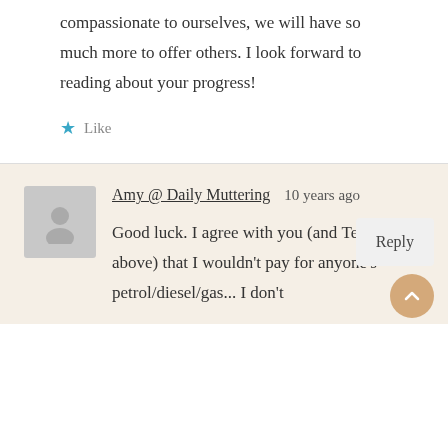compassionate to ourselves, we will have so much more to offer others. I look forward to reading about your progress!
Like
Amy @ Daily Muttering   10 years ago
Good luck. I agree with you (and Teresa above) that I wouldn't pay for anyone's petrol/diesel/gas... I don't